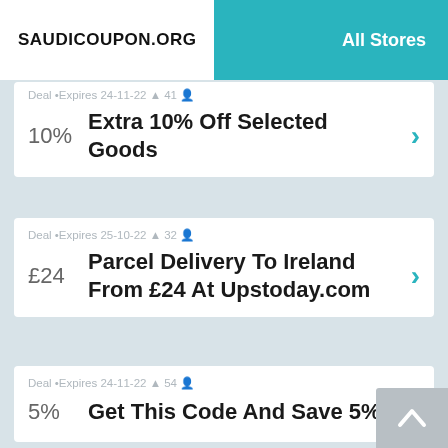SAUDICOUPON.ORG | All Stores
Deal • Expires 24-11-22 🔔 41 👤
10%
Extra 10% Off Selected Goods
Deal • Expires 25-10-22 🔔 32 👤
£24
Parcel Delivery To Ireland From £24 At Upstoday.com
Deal • Expires 24-11-22 🔔 54 👤
5%
Get This Code And Save 5%